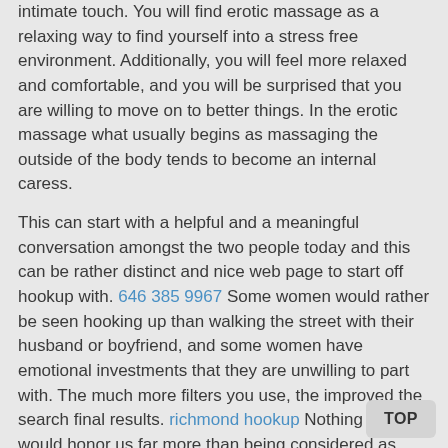intimate touch. You will find erotic massage as a relaxing way to find yourself into a stress free environment. Additionally, you will feel more relaxed and comfortable, and you will be surprised that you are willing to move on to better things. In the erotic massage what usually begins as massaging the outside of the body tends to become an internal caress.
This can start with a helpful and a meaningful conversation amongst the two people today and this can be rather distinct and nice web page to start off hookup with. 646 385 9967 Some women would rather be seen hooking up than walking the street with their husband or boyfriend, and some women have emotional investments that they are unwilling to part with. The much more filters you use, the improved the search final results. richmond hookup Nothing at all would honor us far more than being considered as your virtual wingman for every little thing related to hookup or dating websites.
The massage might start with the hand but will soon end up lips and other parts of your body. Additionally, it's important that you take things slow so that you can effectively enjoy the moment. You will change your mood from bad to best in when you experience the right kind of music, scents as well as the massage oil.
With touch come healing, and most adults do find themselvo